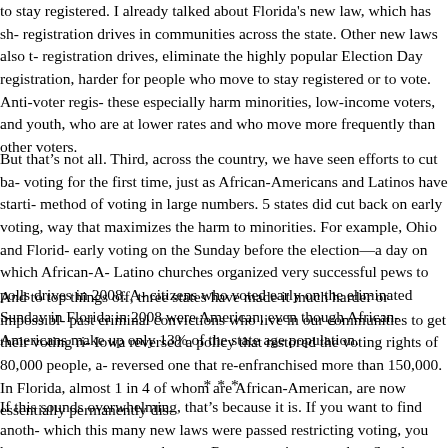to stay registered. I already talked about Florida's new law, which has sh- registration drives in communities across the state. Other new laws also t- registration drives, eliminate the highly popular Election Day registration, harder for people who move to stay registered or to vote. Anti-voter regis- these especially harm minorities, low-income voters, and youth, who are at lower rates and who move more frequently than other voters.
But that's not all. Third, across the country, we have seen efforts to cut ba- voting for the first time, just as African-Americans and Latinos have starti- method of voting in large numbers. 5 states did cut back on early voting, way that maximizes the harm to minorities. For example, Ohio and Florid- early voting on the Sunday before the election—a day on which African-A- Latino churches organized very successful pews to polls drives in 2008. A- citizens who voted early on the eliminated Sunday in Florida in 2008 were American, even though African-Americans make up only 13% of the state age population.
And to top things off, three states have made it much harder or impossibl- past criminal convictions who live in our communities to get their voting ri- Iowa reversed a policy that restored the voting rights of 80,000 people, a- reversed one that re-enfranchised more than 150,000. In Florida, almost 1 in 4 of whom are African-American, are now essentially permanently dis-
***
If this sounds overwhelming, that's because it is. If you want to find anoth- which this many new laws were passed restricting voting, you have to go a century—to the post-Reconstruction era, when Southern states passed Crow voting laws and Northern states targeted immigrants and the poor-